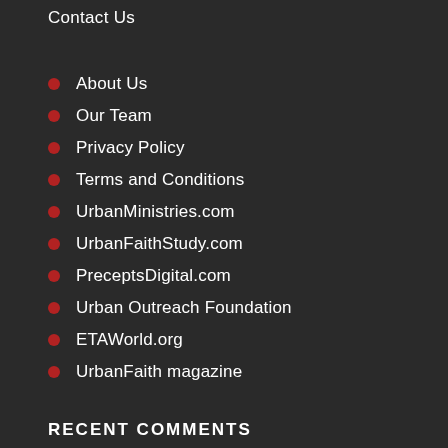Contact Us
About Us
Our Team
Privacy Policy
Terms and Conditions
UrbanMinistries.com
UrbanFaithStudy.com
PreceptsDigital.com
Urban Outreach Foundation
ETAWorld.org
UrbanFaith magazine
RECENT COMMENTS